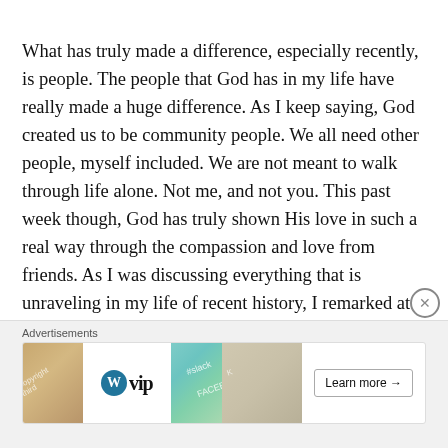What has truly made a difference, especially recently, is people. The people that God has in my life have really made a huge difference. As I keep saying, God created us to be community people. We all need other people, myself included. We are not meant to walk through life alone. Not me, and not you. This past week though, God has truly shown His love in such a real way through the compassion and love from friends. As I was discussing everything that is unraveling in my life of recent history, I remarked at how much I'm learning to reach out and connect with people. The reflective response made me think. “Imagine if this had all been going on a year ago, think of how different it would be” and that was so right. I was at a relatively dark
[Figure (other): Advertisement banner featuring WordPress VIP logo, colorful design elements with slack and Facebook imagery, and a 'Learn more' button]